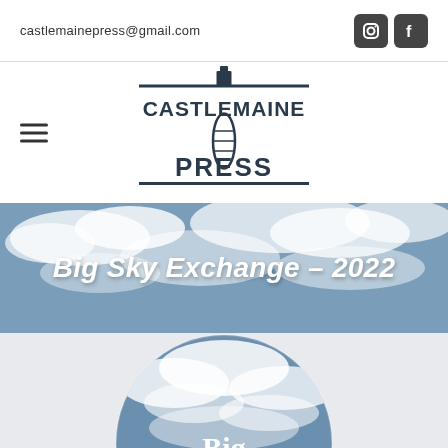castlemainepress@gmail.com
[Figure (logo): Castlemaine Press logo with lighthouse/printing press imagery, text CASTLEMAINE PRESS]
Big Sky Exchange – 2022
[Figure (illustration): Circular image of cloudy blue sky with text 'Big Sky' overlaid in white serif font]